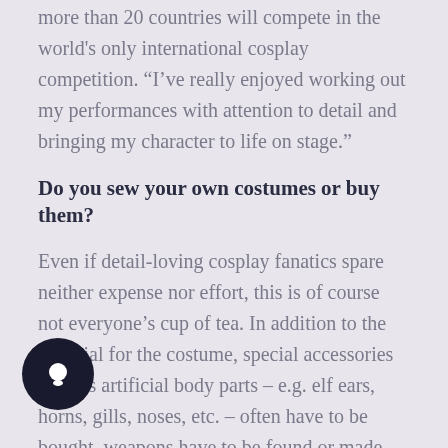more than 20 countries will compete in the world's only international cosplay competition. “I’ve really enjoyed working out my performances with attention to detail and bringing my character to life on stage.”
Do you sew your own costumes or buy them?
Even if detail-loving cosplay fanatics spare neither expense nor effort, this is of course not everyone’s cup of tea. In addition to the material for the costume, special accessories such as artificial body parts – e.g. elf ears, horns, gills, noses, etc. – often have to be bought, weapons have to be found or made and wigs be purchased. Often these things have to be searched for and bought in different places and that